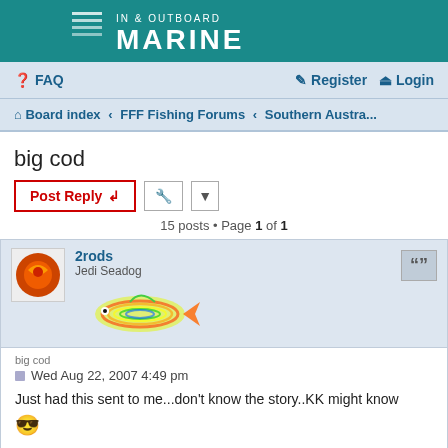[Figure (logo): In & Outboard Marine banner logo with teal background, white text]
FAQ  Register  Login
Board index < FFF Fishing Forums < Southern Austra...
big cod
Post Reply  [tools]
15 posts • Page 1 of 1
2rods
Jedi Seadog
[Figure (illustration): Colorful cartoon fish illustration]
big cod
Wed Aug 22, 2007 4:49 pm
Just had this sent to me...don't know the story..KK might know 😎
You do not have the required permissions to view the files attached to this post.